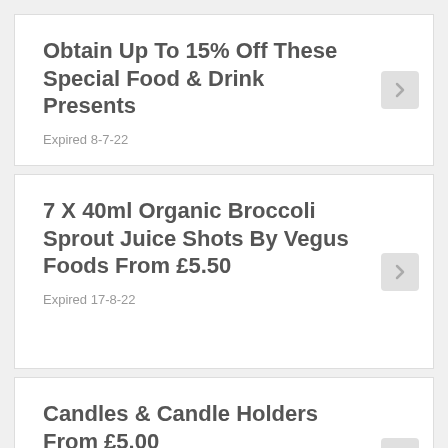Obtain Up To 15% Off These Special Food & Drink Presents
Expired 8-7-22
7 X 40ml Organic Broccoli Sprout Juice Shots By Vegus Foods From £5.50
Expired 17-8-22
Candles & Candle Holders From £5.00
Expired 31-7-22